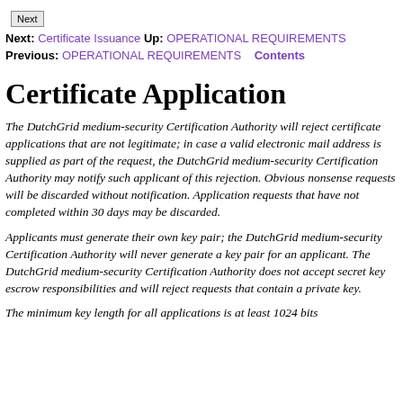[Figure (other): Next navigation button (browser-style button labeled 'Next')]
Next: Certificate Issuance Up: OPERATIONAL REQUIREMENTS Previous: OPERATIONAL REQUIREMENTS   Contents
Certificate Application
The DutchGrid medium-security Certification Authority will reject certificate applications that are not legitimate; in case a valid electronic mail address is supplied as part of the request, the DutchGrid medium-security Certification Authority may notify such applicant of this rejection. Obvious nonsense requests will be discarded without notification. Application requests that have not completed within 30 days may be discarded.
Applicants must generate their own key pair; the DutchGrid medium-security Certification Authority will never generate a key pair for an applicant. The DutchGrid medium-security Certification Authority does not accept secret key escrow responsibilities and will reject requests that contain a private key.
The minimum key length for all applications is at least 1024 bits